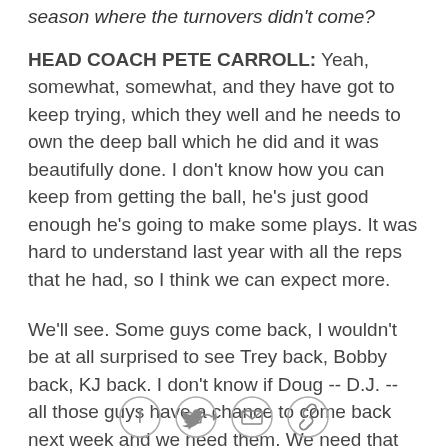season where the turnovers didn't come?
HEAD COACH PETE CARROLL: Yeah, somewhat, somewhat, and they have got to keep trying, which they well and he needs to own the deep ball which he did and it was beautifully done. I don't know how you can keep from getting the ball, he's just good enough he's going to make some plays. It was hard to understand last year with all the reps that he had, so I think we can expect more.
We'll see. Some guys come back, I wouldn't be at all surprised to see Trey back, Bobby back, KJ back. I don't know if Doug -- D.J. -- all those guys have a chance to come back next week and we need them. We need that boost from those guys and the leadership and experience that they drink.
[Figure (infographic): Social sharing icons: Facebook, Twitter, email, and link/chain icon in circular outlines]